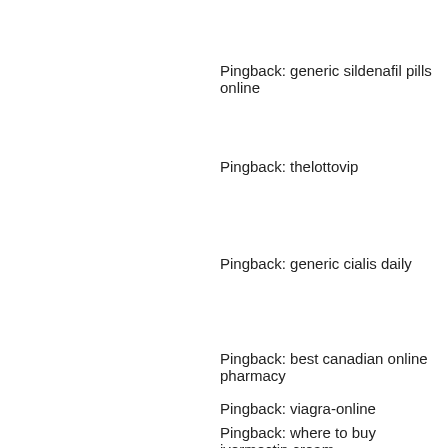Pingback: generic sildenafil pills online
Pingback: thelottovip
Pingback: generic cialis daily
Pingback: best canadian online pharmacy
Pingback: viagra-online
Pingback: where to buy ivermectin cream